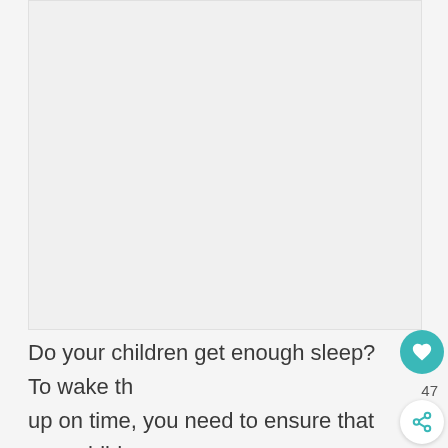[Figure (photo): Large image placeholder area at the top of the page, light grey background]
Do your children get enough sleep? To wake them up on time, you need to ensure that your children get adequate rest at night. When they do not get the rest they think they deserve, they'll start